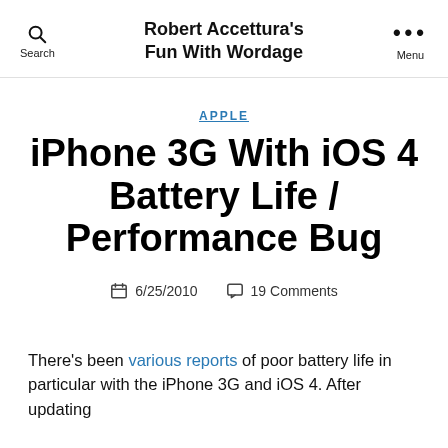Robert Accettura's Fun With Wordage
APPLE
iPhone 3G With iOS 4 Battery Life / Performance Bug
6/25/2010   19 Comments
There’s been various reports of poor battery life in particular with the iPhone 3G and iOS 4. After updating